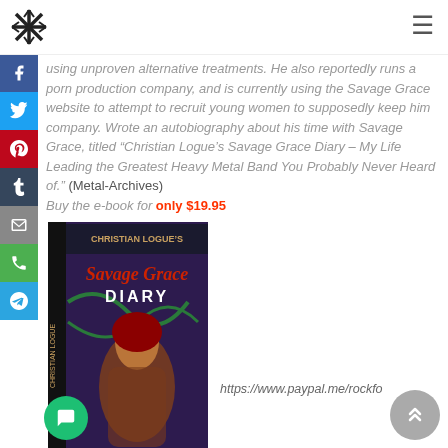Navigation header with logo and hamburger menu
using unproven alternative treatments. He also reportedly runs a porn production company, and is currently using the Savage Grace website to attempt to recruit young women to supposedly keep him company. Wrote an autobiography about his time with Savage Grace, titled “Christian Logue’s Savage Grace Diary – My Life Leading the Greatest Heavy Metal Band You Probably Never Heard of.” (Metal-Archives) Buy the e-book for only $19.95
[Figure (photo): Book cover of Christian Logue's Savage Grace Diary, showing a woman with red hair and gothic styling, with the title text in gothic font]
https://www.paypal.me/rockfo